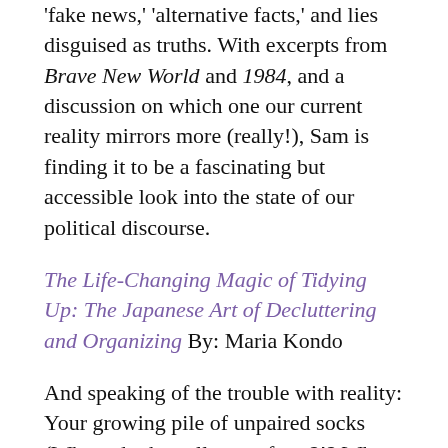'fake news,' 'alternative facts,' and lies disguised as truths. With excerpts from Brave New World and 1984, and a discussion on which one our current reality mirrors more (really!), Sam is finding it to be a fascinating but accessible look into the state of our political discourse.
The Life-Changing Magic of Tidying Up: The Japanese Art of Decluttering and Organizing By: Maria Kondo
And speaking of the trouble with reality: Your growing pile of unpaired socks (Where do they all come from?!? Where do the other ones go?!?). If The Handmaid's Tale evokes the terror of having your life taken out of your control, and The Trouble